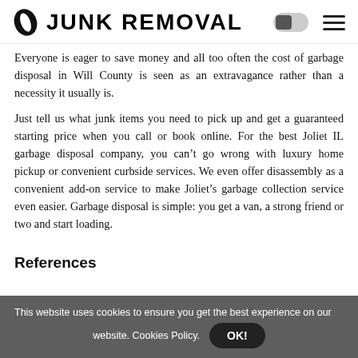JUNK REMOVAL
Everyone is eager to save money and all too often the cost of garbage disposal in Will County is seen as an extravagance rather than a necessity it usually is.
Just tell us what junk items you need to pick up and get a guaranteed starting price when you call or book online. For the best Joliet IL garbage disposal company, you can't go wrong with luxury home pickup or convenient curbside services. We even offer disassembly as a convenient add-on service to make Joliet's garbage collection service even easier. Garbage disposal is simple: you get a van, a strong friend or two and start loading.
References
This website uses cookies to ensure you get the best experience on our website. Cookies Policy.